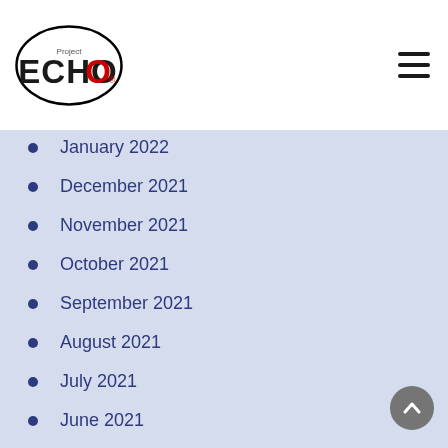Project ECHO logo and navigation
January 2022
December 2021
November 2021
October 2021
September 2021
August 2021
July 2021
June 2021
May 2021
April 2021
March 2021
February 2021